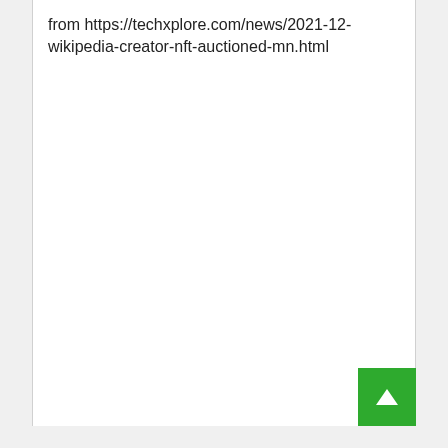from https://techxplore.com/news/2021-12-wikipedia-creator-nft-auctioned-mn.html